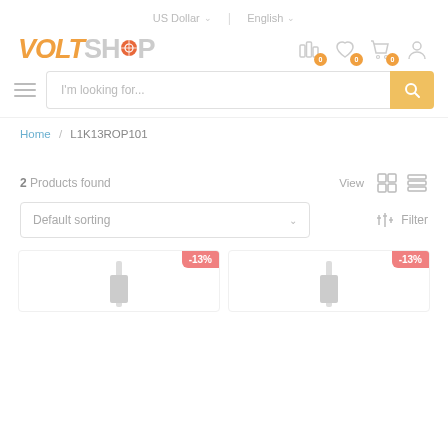US Dollar  |  English
[Figure (logo): VoltShop logo with orange VOLT text and gray SHOP text]
[Figure (screenshot): Navigation icons: compare (0), wishlist (0), cart (0), account]
[Figure (screenshot): Search bar with hamburger menu and yellow search button, placeholder: I'm looking for...]
Home / L1K13ROP101
2 Products found
View
Default sorting
Filter
-13%
-13%